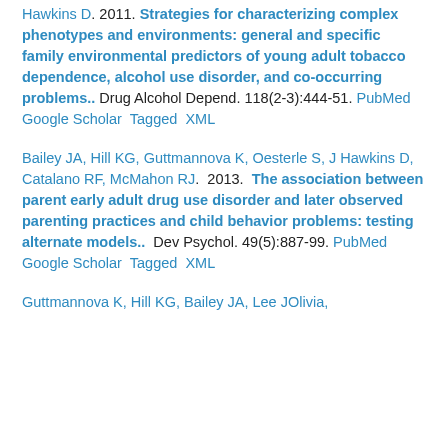Hawkins D. 2011. Strategies for characterizing complex phenotypes and environments: general and specific family environmental predictors of young adult tobacco dependence, alcohol use disorder, and co-occurring problems.. Drug Alcohol Depend. 118(2-3):444-51. PubMed  Google Scholar  Tagged  XML
Bailey JA, Hill KG, Guttmannova K, Oesterle S, J Hawkins D, Catalano RF, McMahon RJ.  2013.  The association between parent early adult drug use disorder and later observed parenting practices and child behavior problems: testing alternate models..  Dev Psychol. 49(5):887-99. PubMed  Google Scholar  Tagged  XML
Guttmannova K, Hill KG, Bailey JA, Lee JOlivia,